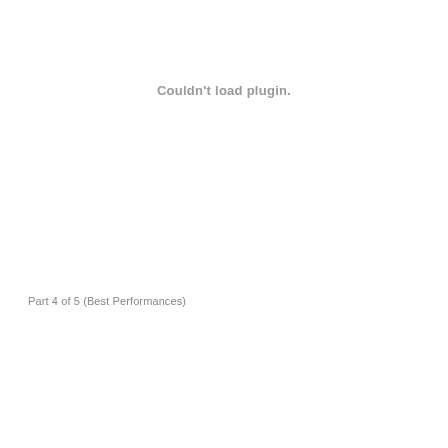Couldn't load plugin.
Part 4 of 5 (Best Performances)